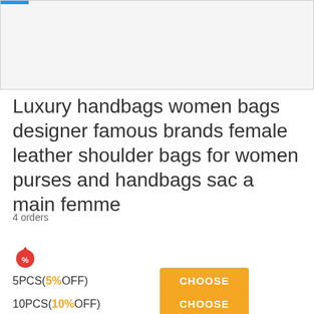[Figure (photo): Product image placeholder area, light gray background with blue accent bar at top left]
Luxury handbags women bags designer famous brands female leather shoulder bags for women purses and handbags sac a main femme
4 orders
[Figure (illustration): Red fire/droplet icon with percent symbol]
5PCS(5%OFF) CHOOSE
10PCS(10%OFF) CHOOSE